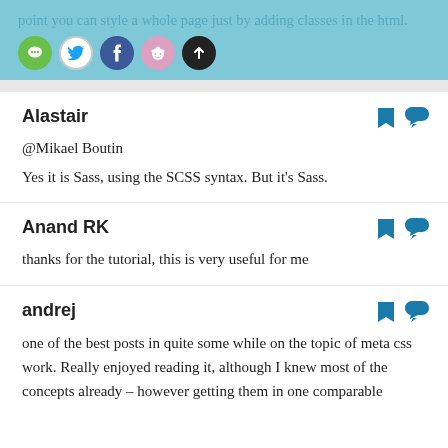point you can style a whole page just by adding classes in the html.
Alastair
@Mikael Boutin
Yes it is Sass, using the SCSS syntax. But it's Sass.
Anand RK
thanks for the tutorial, this is very useful for me
andrej
one of the best posts in quite some while on the topic of meta css work. Really enjoyed reading it, although I knew most of the concepts already – however getting them in one comparable